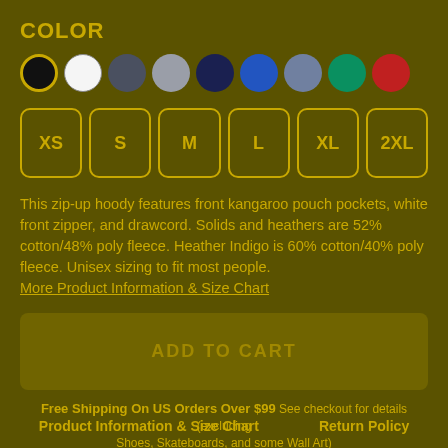COLOR
[Figure (illustration): Row of 9 color swatches (circles): black (selected with gold border), white, dark gray/slate, gray, dark navy, royal blue, light blue/gray, teal/green, red]
[Figure (illustration): Six size selector buttons in a row: XS, S, M, L, XL, 2XL — gold border, rounded rectangle, gold text]
This zip-up hoody features front kangaroo pouch pockets, white front zipper, and drawcord. Solids and heathers are 52% cotton/48% poly fleece. Heather Indigo is 60% cotton/40% poly fleece. Unisex sizing to fit most people.
More Product Information & Size Chart
ADD TO CART
Free Shipping On US Orders Over $99 See checkout for details (excluding Shoes, Skateboards, and some Wall Art)
Product Information & Size Chart     Return Policy